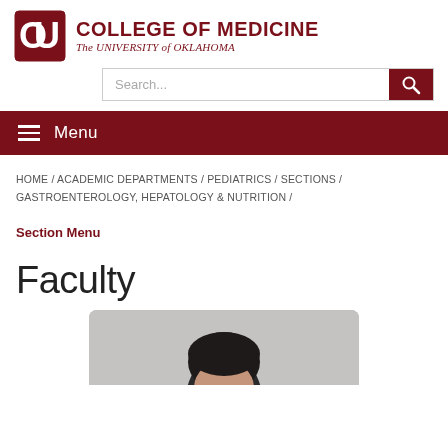[Figure (logo): University of Oklahoma College of Medicine logo with OU interlocking letters and text 'COLLEGE OF MEDICINE The University of Oklahoma']
[Figure (screenshot): Search bar with placeholder text 'Search...' and a red search button with magnifying glass icon]
Menu
HOME / ACADEMIC DEPARTMENTS / PEDIATRICS / SECTIONS / GASTROENTEROLOGY, HEPATOLOGY & NUTRITION /
Section Menu
Faculty
[Figure (photo): Partial photo of a person, cropped at bottom of page, showing top of head with dark hair against a blurred background]